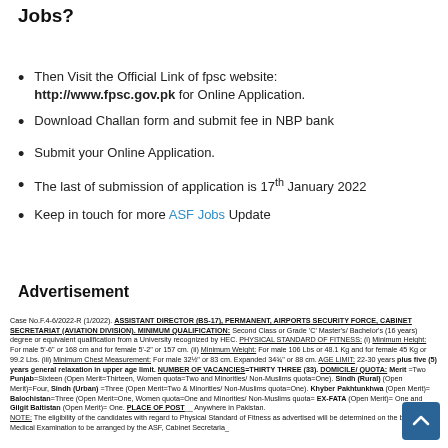How to Apply for Assistant Director ASF Jobs?
Then Visit the Official Link of fpsc website: http://www.fpsc.gov.pk for Online Application.
Download Challan form and submit fee in NBP bank
Submit your Online Application.
The last of submission of application is 17th January 2022
Keep in touch for more ASF Jobs Update
Advertisement
Case No.F.4-6/2022-R (1/2022). ASSISTANT DIRECTOR (BS-17), PERMANENT, AIRPORTS SECURITY FORCE, CABINET SECRETARIAT (AVIATION DIVISION). MINIMUM QUALIFICATION: Second Class or Grade 'C' Master's/ Bachelor's (16 years) degree or equivalent qualification from a University recognized by HEC. PHYSICAL STANDARD OF FITNESS: (i) Minimum Height: For male 5'-6" or 168 cm and for female 5'-2" or 157 cm. (ii) Minimum Weight: For male 106 Lbs or 48.1 Kg and for female 45 Kg or 99.2 Lbs. (iii) Minimum Chest Measurement: For male 32½" or 83 cm. Expanded 34¾" or 88 cm. AGE LIMIT: 22-30 years plus five (5) years general relaxation in upper age limit. NUMBER OF VACANCIES=THIRTY THREE (33). DOMICILE/QUOTA: Merit =Two Punjab=Sixteen (Open Merit=Thirteen, Women quota=Two and Minorities/Non-Muslims quota=One). Sindh (Rural) (Open Merit)=Four, Sindh (Urban) =Three (Open Merit=Two & Minorities/ Non-Muslims quota=One). Khyber Pakhtunkhwa (Open Merit)= Balochistan=Three (Open Merit=One, Women quota=One and Minorities/ Non-Muslims quota= EX-FATA (Open Merit)= One and Gilgit Baltistan (Open Merit)= One. PLACE OF POSTING: Anywhere in Pakistan. NOTE: The eligibility of the candidates with regard to Physical Standard of Fitness as advertised will be determined on the basis of Medical Examination to be arranged by the ASF, Cabinet Secretariat